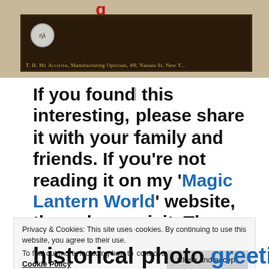[Figure (photo): A magic lantern slide in a dark wooden frame with a circular label and gold text reading 'T. H. Mc Allister, Manufacturing Optician, 49, Nassau St, New Y...' A red character is partially visible at top.]
If you found this interesting, please share it with your family and friends. If you're not reading it on my 'Magic Lantern World' website, then please visit. There are over one hundred illustrated articles
Privacy & Cookies: This site uses cookies. By continuing to use this website, you agree to their use.
To find out more, including how to control cookies, see here: Cookie Policy
Close and accept
historical photo greetings